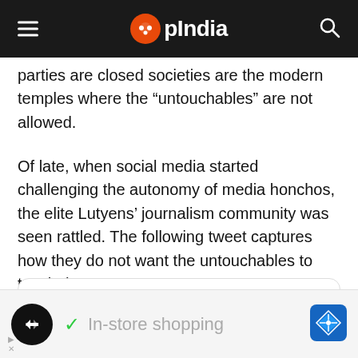OpIndia
parties are closed societies are the modern temples where the “untouchables” are not allowed.
Of late, when social media started challenging the autonomy of media honchos, the elite Lutyens’ journalism community was seen rattled. The following tweet captures how they do not want the untouchables to touch them:
[Figure (screenshot): Tweet embed showing Rahul Roushan @rahulroushan with Follow button and Twitter bird icon]
[Figure (screenshot): Ad bar showing logo circle, checkmark, In-store shopping text, and navigation icon]